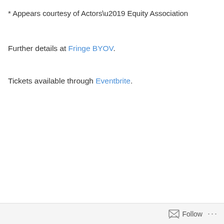* Appears courtesy of Actors’ Equity Association
Further details at Fringe BYOV.
Tickets available through Eventbrite.
Follow …